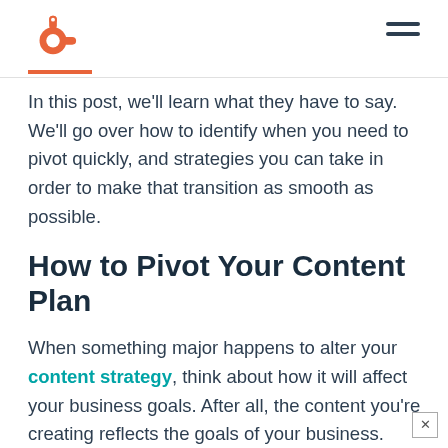HubSpot logo and navigation
In this post, we'll learn what they have to say. We'll go over how to identify when you need to pivot quickly, and strategies you can take in order to make that transition as smooth as possible.
How to Pivot Your Content Plan
When something major happens to alter your content strategy, think about how it will affect your business goals. After all, the content you're creating reflects the goals of your business.
"The content HubSpot creates is intended to help businesses around the world grow better by addr